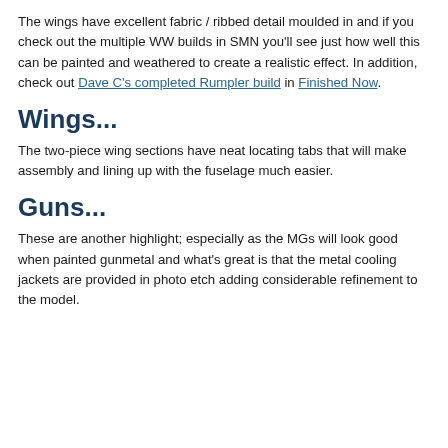The wings have excellent fabric / ribbed detail moulded in and if you check out the multiple WW builds in SMN you'll see just how well this can be painted and weathered to create a realistic effect. In addition, check out Dave C's completed Rumpler build in Finished Now.
Wings...
The two-piece wing sections have neat locating tabs that will make assembly and lining up with the fuselage much easier.
Guns...
These are another highlight; especially as the MGs will look good when painted gunmetal and what's great is that the metal cooling jackets are provided in photo etch adding considerable refinement to the model.